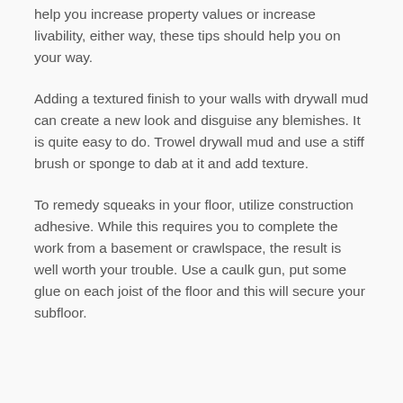help you increase property values or increase livability, either way, these tips should help you on your way.
Adding a textured finish to your walls with drywall mud can create a new look and disguise any blemishes. It is quite easy to do. Trowel drywall mud and use a stiff brush or sponge to dab at it and add texture.
To remedy squeaks in your floor, utilize construction adhesive. While this requires you to complete the work from a basement or crawlspace, the result is well worth your trouble. Use a caulk gun, put some glue on each joist of the floor and this will secure your subfloor.